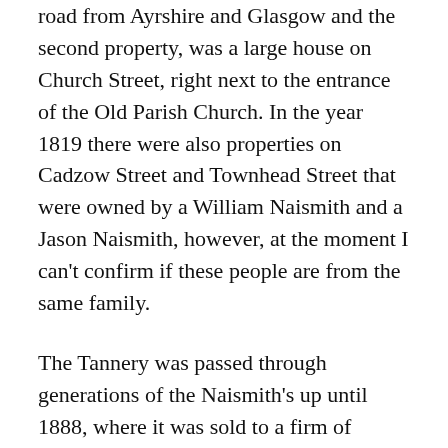road from Ayrshire and Glasgow and the second property, was a large house on Church Street, right next to the entrance of the Old Parish Church. In the year 1819 there were also properties on Cadzow Street and Townhead Street that were owned by a William Naismith and a Jason Naismith, however, at the moment I can’t confirm if these people are from the same family.
The Tannery was passed through generations of the Naismith’s up until 1888, where it was sold to a firm of curriers called Gibson and Gillon who were also an established Currier and Leather Merchant who ran their business from 8 Postgate.
The Tannery was eventually sold 4 years later in 1892 to a man from Perth, this man was called William Murdoch and he ran the Tannery business